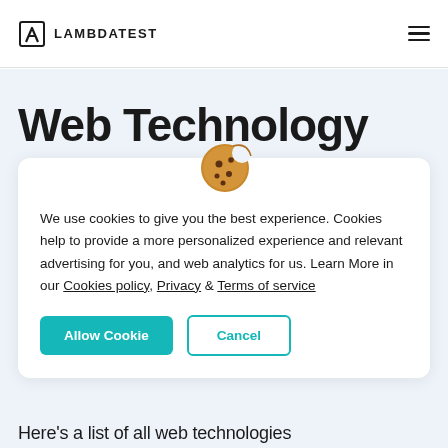LAMBDATEST
Web Technology
We use cookies to give you the best experience. Cookies help to provide a more personalized experience and relevant advertising for you, and web analytics for us. Learn More in our Cookies policy, Privacy & Terms of service
Allow Cookie   Cancel
Here's a list of all web technologies